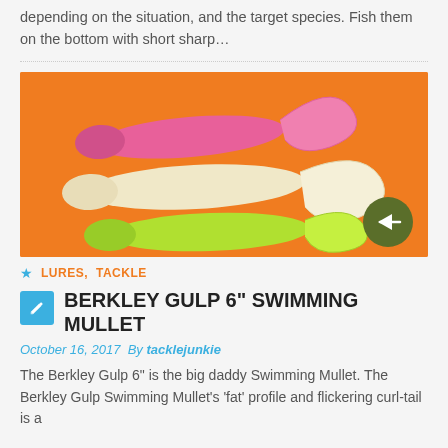depending on the situation, and the target species. Fish them on the bottom with short sharp…
[Figure (photo): Three fishing lures (pink, cream, and lime green curly-tail swimming mullet lures) arranged on an orange background, with a dark olive green circle containing a right-pointing arrow in the bottom right corner.]
LURES, TACKLE
BERKLEY GULP 6" SWIMMING MULLET
October 16, 2017  By tacklejunkie
The Berkley Gulp 6" is the big daddy Swimming Mullet. The Berkley Gulp Swimming Mullet's 'fat' profile and flickering curl-tail is a